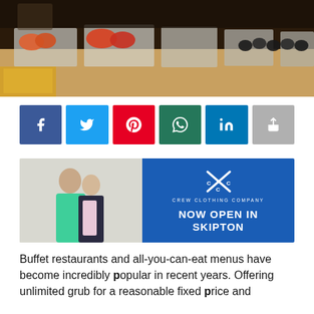[Figure (photo): Photo of a buffet restaurant food display with trays of colorful foods including vegetables and other dishes on a counter]
[Figure (infographic): Row of six social media sharing buttons: Facebook (dark blue), Twitter (light blue), Pinterest (red), WhatsApp (dark green), LinkedIn (blue), Share (grey)]
[Figure (photo): Advertisement banner for Crew Clothing Company. Left half shows a man and woman in casual clothing, right half is blue with Crew Clothing Company logo and text NOW OPEN IN SKIPTON]
Buffet restaurants and all-you-can-eat menus have become incredibly popular in recent years. Offering unlimited grub for a reasonable fixed price and